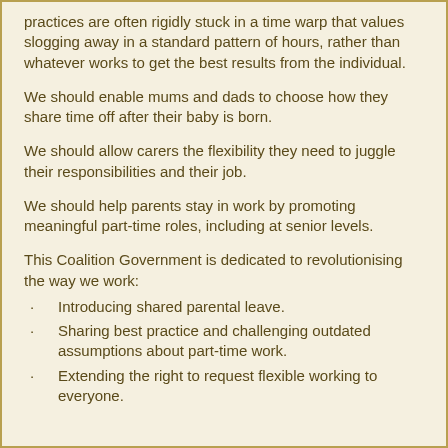practices are often rigidly stuck in a time warp that values slogging away in a standard pattern of hours, rather than whatever works to get the best results from the individual.
We should enable mums and dads to choose how they share time off after their baby is born.
We should allow carers the flexibility they need to juggle their responsibilities and their job.
We should help parents stay in work by promoting meaningful part-time roles, including at senior levels.
This Coalition Government is dedicated to revolutionising the way we work:
Introducing shared parental leave.
Sharing best practice and challenging outdated assumptions about part-time work.
Extending the right to request flexible working to everyone.